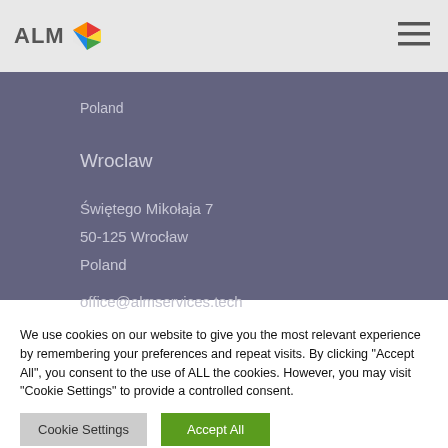[Figure (logo): ALM logo with colorful cube icon and hamburger menu on grey navigation bar]
Szafranka 2-4/1
Wroclaw
Świętego Mikołaja 7
50-125 Wrocław
Poland
office@almservices.tech
We use cookies on our website to give you the most relevant experience by remembering your preferences and repeat visits. By clicking "Accept All", you consent to the use of ALL the cookies. However, you may visit "Cookie Settings" to provide a controlled consent.